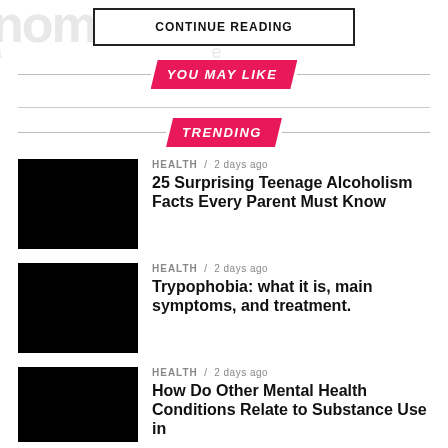CONTINUE READING
YOU MAY LIKE
TRENDING
HEALTH / 2 days ago
25 Surprising Teenage Alcoholism Facts Every Parent Must Know
HEALTH / 2 days ago
Trypophobia: what it is, main symptoms, and treatment.
HEALTH / 2 days ago
How Do Other Mental Health Conditions Relate to Substance Use in